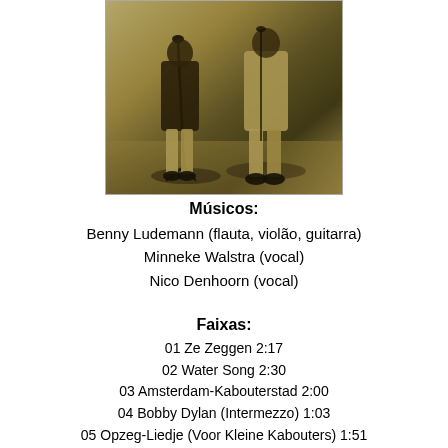[Figure (photo): Black and white / sepia photo of musicians performing on stage with microphone stands]
Músicos:
Benny Ludemann (flauta, violão, guitarra)
Minneke Walstra (vocal)
Nico Denhoorn (vocal)
Faixas:
01 Ze Zeggen 2:17
02 Water Song 2:30
03 Amsterdam-Kabouterstad 2:00
04 Bobby Dylan (Intermezzo) 1:03
05 Opzeg-Liedje (Voor Kleine Kabouters) 1:51
06 Love To Hobit 2:58
07 Mag Dat Nou In Diensttijd 2:46
08 Road To Nowhere 2:31